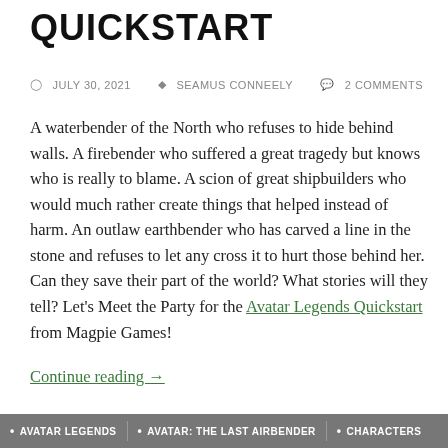QUICKSTART
JULY 30, 2021   SEAMUS CONNEELY   2 COMMENTS
A waterbender of the North who refuses to hide behind walls. A firebender who suffered a great tragedy but knows who is really to blame. A scion of great shipbuilders who would much rather create things that helped instead of harm. An outlaw earthbender who has carved a line in the stone and refuses to let any cross it to hurt those behind her. Can they save their part of the world? What stories will they tell? Let's Meet the Party for the Avatar Legends Quickstart from Magpie Games!
Continue reading →
AVATAR LEGENDS   •  AVATAR: THE LAST AIRBENDER  •  CHARACTERS